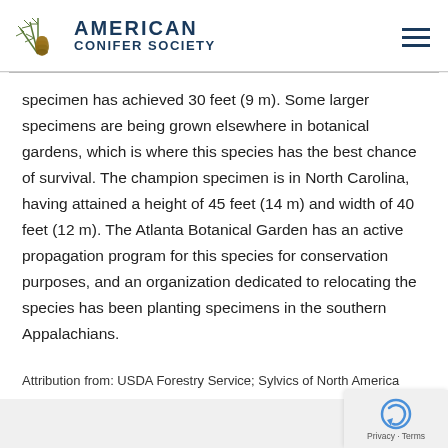AMERICAN CONIFER SOCIETY
specimen has achieved 30 feet (9 m). Some larger specimens are being grown elsewhere in botanical gardens, which is where this species has the best chance of survival. The champion specimen is in North Carolina, having attained a height of 45 feet (14 m) and width of 40 feet (12 m). The Atlanta Botanical Garden has an active propagation program for this species for conservation purposes, and an organization dedicated to relocating the species has been planting specimens in the southern Appalachians.
Attribution from: USDA Forestry Service; Sylvics of North America